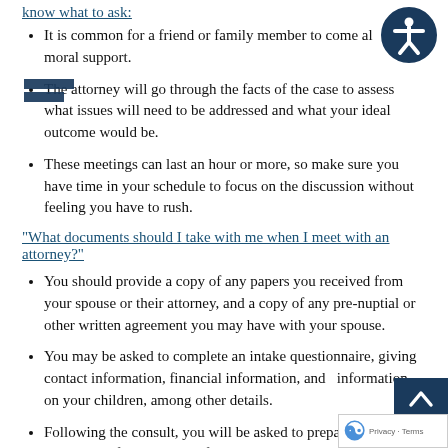know what to ask:
It is common for a friend or family member to come along for moral support.
The attorney will go through the facts of the case to assess what issues will need to be addressed and what your ideal outcome would be.
These meetings can last an hour or more, so make sure you have time in your schedule to focus on the discussion without feeling you have to rush.
"What documents should I take with me when I meet with an attorney?"
You should provide a copy of any papers you received from your spouse or their attorney, and a copy of any pre-nuptial or other written agreement you may have with your spouse.
You may be asked to complete an intake questionnaire, giving contact information, financial information, and information on your children, among other details.
Following the consult, you will be asked to prepare a Statement of Net Worth, a form required by the court that